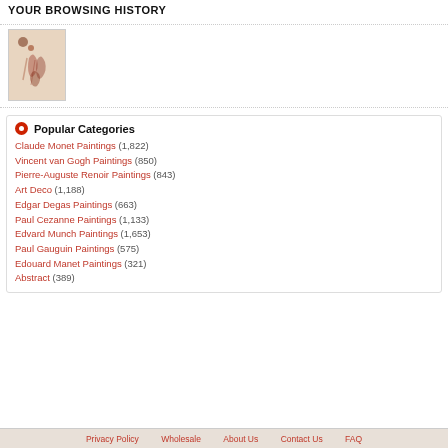YOUR BROWSING HISTORY
[Figure (photo): Small thumbnail image of a painting with reddish/brown tones on a beige background]
Popular Categories
Claude Monet Paintings (1,822)
Vincent van Gogh Paintings (850)
Pierre-Auguste Renoir Paintings (843)
Art Deco (1,188)
Edgar Degas Paintings (663)
Paul Cezanne Paintings (1,133)
Edvard Munch Paintings (1,653)
Paul Gauguin Paintings (575)
Edouard Manet Paintings (321)
Abstract (389)
Privacy Policy   Wholesale   About Us   Contact Us   FAQ